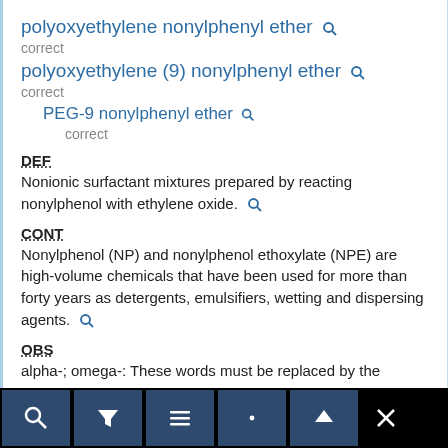polyoxyethylene nonylphenyl ether [search icon]
correct
polyoxyethylene (9) nonylphenyl ether [search icon]
correct
PEG-9 nonylphenyl ether [search icon]
correct
DEF
Nonionic surfactant mixtures prepared by reacting nonylphenol with ethylene oxide.
CONT
Nonylphenol (NP) and nonylphenol ethoxylate (NPE) are high-volume chemicals that have been used for more than forty years as detergents, emulsifiers, wetting and dispersing agents.
OBS
alpha-; omega-: These words must be replaced by the